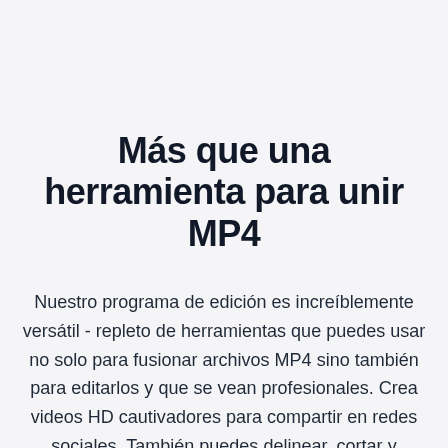Más que una herramienta para unir MP4
Nuestro programa de edición es increíblemente versátil - repleto de herramientas que puedes usar no solo para fusionar archivos MP4 sino también para editarlos y que se vean profesionales. Crea videos HD cautivadores para compartir en redes sociales. También puedes delinear, cortar y cambiar el tamaño de